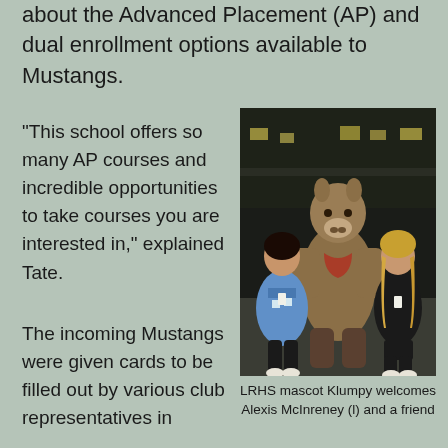about the Advanced Placement (AP) and dual enrollment options available to Mustangs.
“This school offers so many AP courses and incredible opportunities to take courses you are interested in,” explained Tate.
The incoming Mustangs were given cards to be filled out by various club representatives in
[Figure (photo): Two students posing with the LRHS school mascot Klumpy (a horse costume) outdoors at night in front of a school building. One student wears a blue and white patterned sweater, the other wears a black outfit.]
LRHS mascot Klumpy welcomes Alexis McInreney (l) and a friend